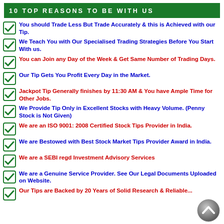10 TOP REASONS TO BE WITH US
You should Trade Less But Trade Accurately & this is Achieved with our Tip.
We Teach You with Our Specialised Trading Strategies Before You Start With us.
You can Join any Day of the Week & Get Same Number of Trading Days.
Our Tip Gets You Profit Every Day in the Market.
Jackpot Tip Generally finishes by 11:30 AM & You have Ample Time for Other Jobs.
We Provide Tip Only in Excellent Stocks with Heavy Volume. (Penny Stock is Not Given)
We are an ISO 9001: 2008 Certified Stock Tips Provider in India.
We are Bestowed with Best Stock Market Tips Provider Award in India.
We are a SEBI regd Investment Advisory Services
We are a Genuine Service Provider. See Our Legal Documents Uploaded on Website.
Our Tips are Backed by 20 Years of Solid Research & Reliable...